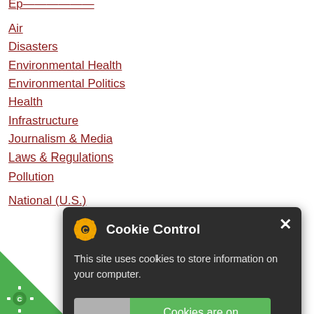Air
Disasters
Environmental Health
Environmental Politics
Health
Infrastructure
Journalism & Media
Laws & Regulations
Pollution
National (U.S.)
[Figure (screenshot): Cookie Control popup dialog with dark background. Shows orange gear icon with 'C' letter, title 'Cookie Control', close X button, text 'This site uses cookies to store information on your computer.', a toggle showing 'Cookies are on' in green, and a 'read more' link below.]